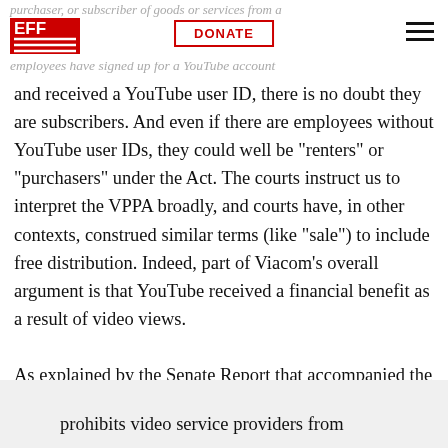EFF | DONATE
and received a YouTube user ID, there is no doubt they are subscribers. And even if there are employees without YouTube user IDs, they could well be "renters" or "purchasers" under the Act. The courts instruct us to interpret the VPPA broadly, and courts have, in other contexts, construed similar terms (like "sale") to include free distribution. Indeed, part of Viacom's overall argument is that YouTube received a financial benefit as a result of video views.
As explained by the Senate Report that accompanied the bill, the VPPA:
prohibits video service providers from